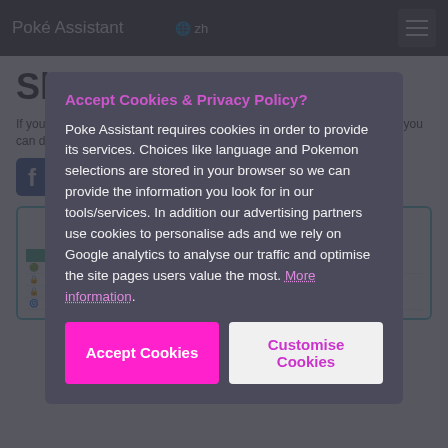Poké Assistant  🌐 zh  ☰
Sharing
If you like Poké Assistant and the free services it provides, the best thing you can do to give back is to recommend it.
[Figure (screenshot): Social media sharing icons (Facebook and others)]
Trainer Stats
Pokemon Go Progression...
Accept Cookies & Privacy Policy?
Poke Assistant requires cookies in order to provide its services. Choices like language and Pokemon selections are stored in your browser so we can provide the information you look for in our tools/services. In addition our advertising partners use cookies to personalise ads and we rely on Google analytics to analyse our traffic and optimise the site pages users value the most. More information.
Accept Cookies
Customise Cookies